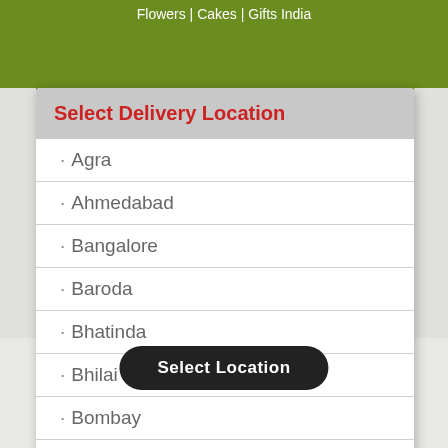Flowers | Cakes | Gifts India
Select Delivery Location
· Agra
· Ahmedabad
· Bangalore
· Baroda
· Bhatinda
· Bhilai
· Bombay
· Cochin
· Dehradun
Select Location